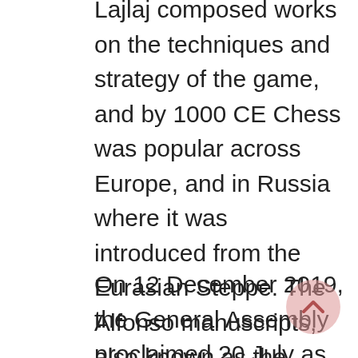Lajlaj composed works on the techniques and strategy of the game, and by 1000 CE Chess was popular across Europe, and in Russia where it was introduced from the Eurasian Steppe. The Alfonso manuscripts, also known as the Libro de los Juegos (Book of Games), a medieval collection of texts on three different types of popular game from the 13th century CE describe the game of Chess as very similar to Persian Shatranj in rules and gameplay.
On 12 December 2019, the General Assembly proclaimed 20 July as World Chess Day to mark the date of the establishment of the International Chess Federation (FIDE) in Paris in 1924.
Under initiative of FIDE, July 20 has been observed as International Chess Day by chess